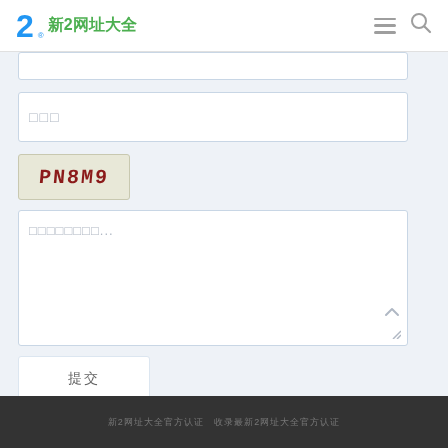新2网址大全
[Figure (screenshot): Input field bar at top of form]
[Figure (screenshot): Email input field with placeholder squares]
[Figure (screenshot): CAPTCHA image showing text PN8M9]
[Figure (screenshot): Textarea with placeholder text and resize handle]
[Figure (screenshot): Submit button with Chinese characters]
新2网址大全官方认证  收录最新2网址大全官方认证